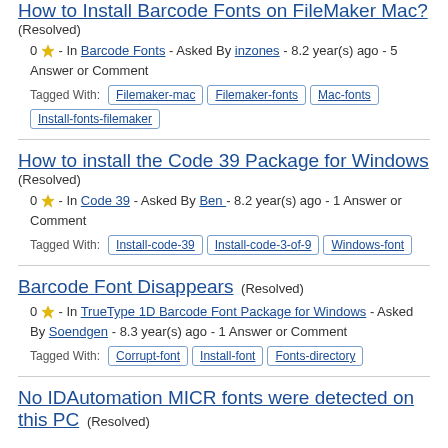How to Install Barcode Fonts on FileMaker Mac?
(Resolved)
0 ★ - In Barcode Fonts - Asked By inzones - 8.2 year(s) ago - 5 Answer or Comment
Tagged With: Filemaker-mac  Filemaker-fonts  Mac-fonts  Install-fonts-filemaker
How to install the Code 39 Package for Windows
(Resolved)
0 ★ - In Code 39 - Asked By Ben - 8.2 year(s) ago - 1 Answer or Comment
Tagged With: Install-code-39  Install-code-3-of-9  Windows-font
Barcode Font Disappears
(Resolved)
0 ★ - In TrueType 1D Barcode Font Package for Windows - Asked By Soendgen - 8.3 year(s) ago - 1 Answer or Comment
Tagged With: Corrupt-font  Install-font  Fonts-directory
No IDAutomation MICR fonts were detected on this PC
(Resolved)